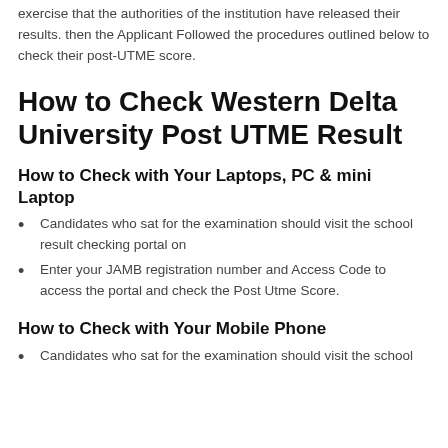exercise that the authorities of the institution have released their results. then the Applicant Followed the procedures outlined below to check their post-UTME score.
How to Check Western Delta University Post UTME Result
How to Check with Your Laptops, PC & mini Laptop
Candidates who sat for the examination should visit the school result checking portal on
Enter your JAMB registration number and Access Code to access the portal and check the Post Utme Score.
How to Check with Your Mobile Phone
Candidates who sat for the examination should visit the school